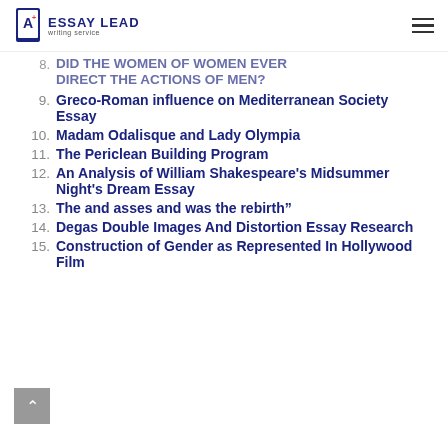ESSAY LEAD writing service
(partial) DID THE WOMEN OF WOMEN EVER DIRECT THE ACTIONS OF MEN?
9. Greco-Roman influence on Mediterranean Society Essay
10. Madam Odalisque and Lady Olympia
11. The Periclean Building Program
12. An Analysis of William Shakespeare's Midsummer Night's Dream Essay
13. The and asses and was the rebirth”
14. Degas Double Images And Distortion Essay Research
15. Construction of Gender as Represented In Hollywood Film